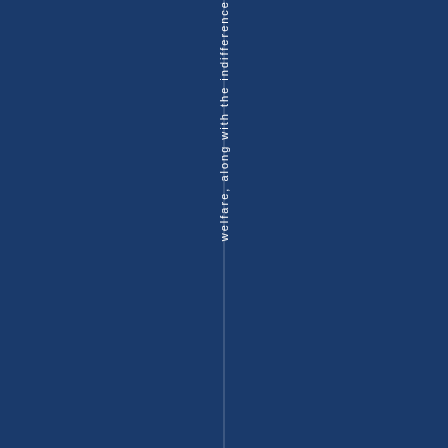welfare, along with the indifference